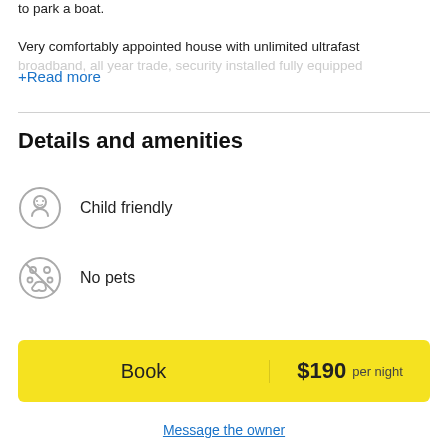to park a boat.
Very comfortably appointed house with unlimited ultrafast broadband, all year trade, security installed fully equipped
+Read more
Details and amenities
Child friendly
No pets
Linen: please enquire
Book  $190 per night
Message the owner